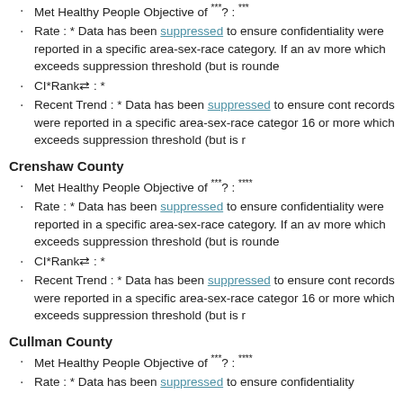Met Healthy People Objective of ***? : ***
Rate : * Data has been suppressed to ensure confidentiality were reported in a specific area-sex-race category. If an av more which exceeds suppression threshold (but is rounde
CI*Rank⋄ : *
Recent Trend : * Data has been suppressed to ensure cont records were reported in a specific area-sex-race categor 16 or more which exceeds suppression threshold (but is r
Crenshaw County
Met Healthy People Objective of ***? : ***
Rate : * Data has been suppressed to ensure confidentiality were reported in a specific area-sex-race category. If an av more which exceeds suppression threshold (but is rounde
CI*Rank⋄ : *
Recent Trend : * Data has been suppressed to ensure cont records were reported in a specific area-sex-race categor 16 or more which exceeds suppression threshold (but is r
Cullman County
Met Healthy People Objective of ***? : ***
Rate : * Data has been suppressed to ensure confidentiality